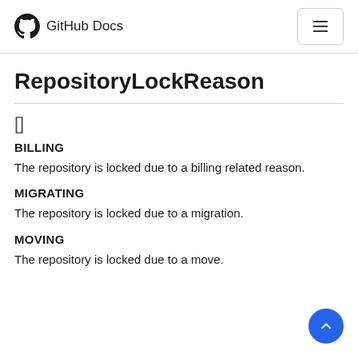GitHub Docs
RepositoryLockReason
[]
BILLING
The repository is locked due to a billing related reason.
MIGRATING
The repository is locked due to a migration.
MOVING
The repository is locked due to a move.